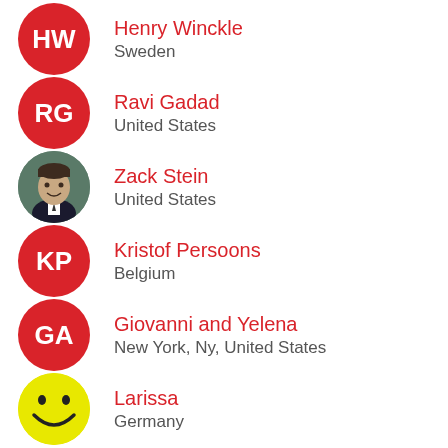Henry Winckle — Sweden
Ravi Gadad — United States
Zack Stein — United States
Kristof Persoons — Belgium
Giovanni and Yelena — New York, Ny, United States
Larissa — Germany